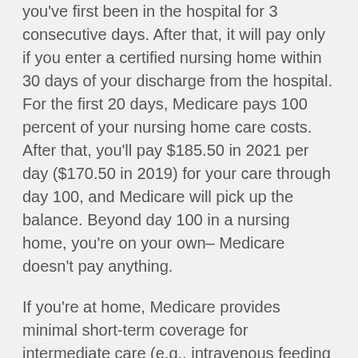you've first been in the hospital for 3 consecutive days. After that, it will pay only if you enter a certified nursing home within 30 days of your discharge from the hospital. For the first 20 days, Medicare pays 100 percent of your nursing home care costs. After that, you'll pay $185.50 in 2021 per day ($170.50 in 2019) for your care through day 100, and Medicare will pick up the balance. Beyond day 100 in a nursing home, you're on your own– Medicare doesn't pay anything.
If you're at home, Medicare provides minimal short-term coverage for intermediate care (e.g., intravenous feeding or the treatment of dressings), but only if you're confined to your home and the treatments are ordered by a doctor.